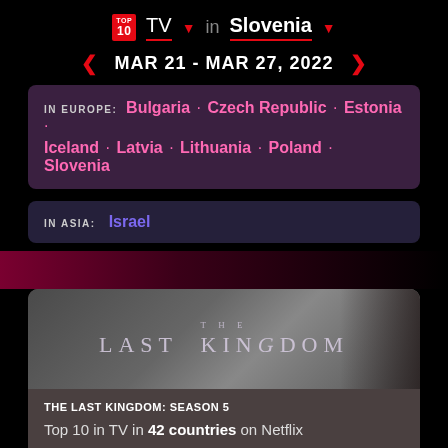TOP 10 TV in Slovenia
MAR 21 - MAR 27, 2022
IN EUROPE: Bulgaria · Czech Republic · Estonia · Iceland · Latvia · Lithuania · Poland · Slovenia
IN ASIA: Israel
[Figure (screenshot): The Last Kingdom title card with stylized text]
THE LAST KINGDOM: SEASON 5
Top 10 in TV in 42 countries on Netflix
IN THE AMERICAS: Argentina · Bahamas · Brazil ·